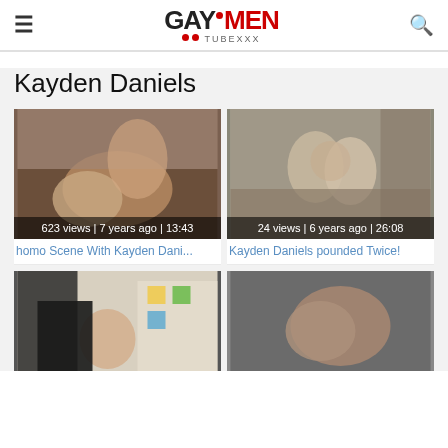GAY!MEN TUBEXXX
Kayden Daniels
[Figure (screenshot): Video thumbnail 1 with overlay: 623 views | 7 years ago | 13:43]
homo Scene With Kayden Dani...
[Figure (screenshot): Video thumbnail 2 with overlay: 24 views | 6 years ago | 26:08]
Kayden Daniels pounded Twice!
[Figure (screenshot): Video thumbnail 3 (bottom left), partially visible]
[Figure (screenshot): Video thumbnail 4 (bottom right), partially visible]